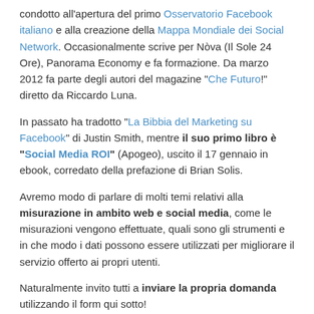condotto all'apertura del primo Osservatorio Facebook italiano e alla creazione della Mappa Mondiale dei Social Network. Occasionalmente scrive per Nòva (Il Sole 24 Ore), Panorama Economy e fa formazione. Da marzo 2012 fa parte degli autori del magazine "Che Futuro!" diretto da Riccardo Luna.
In passato ha tradotto "La Bibbia del Marketing su Facebook" di Justin Smith, mentre il suo primo libro è "Social Media ROI" (Apogeo), uscito il 17 gennaio in ebook, corredato della prefazione di Brian Solis.
Avremo modo di parlare di molti temi relativi alla misurazione in ambito web e social media, come le misurazioni vengono effettuate, quali sono gli strumenti e in che modo i dati possono essere utilizzati per migliorare il servizio offerto ai propri utenti.
Naturalmente invito tutti a inviare la propria domanda utilizzando il form qui sotto!
Maria Petrescu | @sednonsatiata